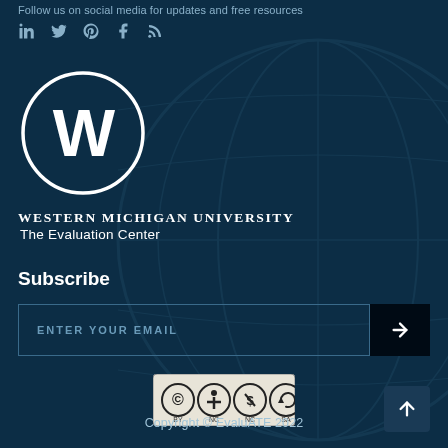Follow us on social media for updates and free resources
[Figure (logo): Social media icons: LinkedIn, Twitter, Pinterest, Facebook, RSS]
[Figure (logo): Western Michigan University The Evaluation Center logo with W in circle]
Subscribe
[Figure (other): Email subscription input field with ENTER YOUR EMAIL placeholder and arrow submit button]
[Figure (logo): Creative Commons BY NC SA license badge]
Copyright © EvaluATE 2022